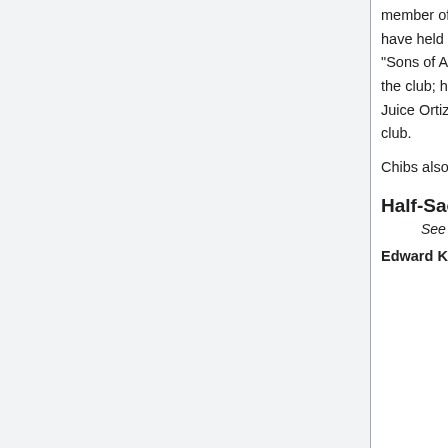member of the Real IRA and Sons of Anarchy's Belfast charter, aka SAMBEL. He is the club member to have held the most positions. On his colors, he wore the following patches: "Sgt. at Arms", "V. President", "Sons of Anarchy" and like Jax, the "In Memory of Opie" patch. Chibs is extremely loyal to Jax Teller and the club; he also has a good relationship with Tig Trager, Half-Sack Epps (a prospect he sponsored), and Juice Ortiz, with whom he has a fatherlike relationship, which ends after Juice's eventual betrayal of the club.
Chibs also appears in Mayans M.C..
Half-Sack Epps [ edit ]
See also: Half-Sack Epps
Edward Kip 'Half-Sack' Epps (whom Cherry calls Kip and Tig sometimes calls